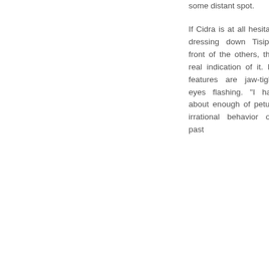some distant spot.
If Cidra is at all hesitant about dressing down Tisiphone in front of the others, there's no real indication of it. Her own features are jaw-tight, blue eyes flashing. "I have had about enough of petulant and irrational behavior over the past